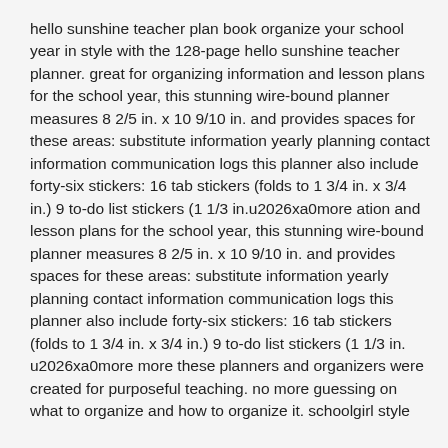hello sunshine teacher plan book organize your school year in style with the 128-page hello sunshine teacher planner. great for organizing information and lesson plans for the school year, this stunning wire-bound planner measures 8 2/5 in. x 10 9/10 in. and provides spaces for these areas: substitute information yearly planning contact information communication logs this planner also include forty-six stickers: 16 tab stickers (folds to 1 3/4 in. x 3/4 in.) 9 to-do list stickers (1 1/3 in.u2026xa0more ation and lesson plans for the school year, this stunning wire-bound planner measures 8 2/5 in. x 10 9/10 in. and provides spaces for these areas: substitute information yearly planning contact information communication logs this planner also include forty-six stickers: 16 tab stickers (folds to 1 3/4 in. x 3/4 in.) 9 to-do list stickers (1 1/3 in. u2026xa0more more these planners and organizers were created for purposeful teaching. no more guessing on what to organize and how to organize it. schoolgirl style